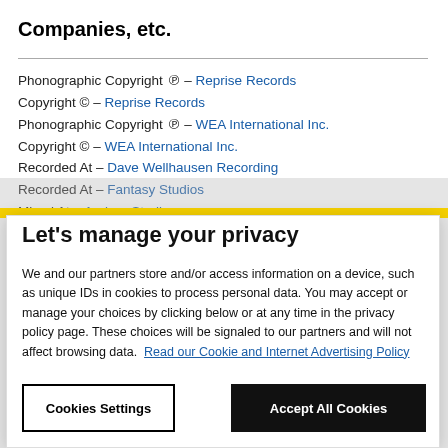Companies, etc.
Phonographic Copyright ℗ – Reprise Records
Copyright © – Reprise Records
Phonographic Copyright ℗ – WEA International Inc.
Copyright © – WEA International Inc.
Recorded At – Dave Wellhausen Recording
Recorded At – Fantasy Studios
Mixed At – Andora Studios
Mastered At – Masterdisk
Let's manage your privacy
We and our partners store and/or access information on a device, such as unique IDs in cookies to process personal data. You may accept or manage your choices by clicking below or at any time in the privacy policy page. These choices will be signaled to our partners and will not affect browsing data. Read our Cookie and Internet Advertising Policy
Cookies Settings
Accept All Cookies